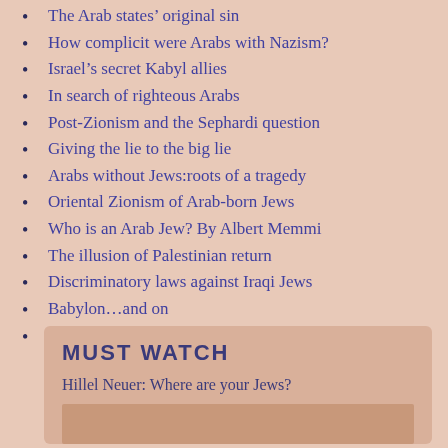The Arab states' original sin
How complicit were Arabs with Nazism?
Israel's secret Kabyl allies
In search of righteous Arabs
Post-Zionism and the Sephardi question
Giving the lie to the big lie
Arabs without Jews:roots of a tragedy
Oriental Zionism of Arab-born Jews
Who is an Arab Jew? By Albert Memmi
The illusion of Palestinian return
Discriminatory laws against Iraqi Jews
Babylon...and on
MUST WATCH
Hillel Neuer: Where are your Jews?
[Figure (photo): Partially visible image at the bottom of the Must Watch box]